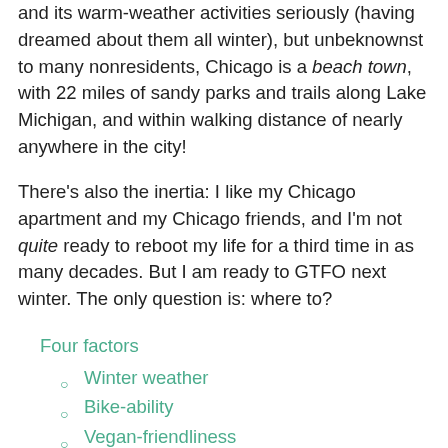and its warm-weather activities seriously (having dreamed about them all winter), but unbeknownst to many nonresidents, Chicago is a beach town, with 22 miles of sandy parks and trails along Lake Michigan, and within walking distance of nearly anywhere in the city!
There's also the inertia: I like my Chicago apartment and my Chicago friends, and I'm not quite ready to reboot my life for a third time in as many decades. But I am ready to GTFO next winter. The only question is: where to?
Four factors
Winter weather
Bike-ability
Vegan-friendliness
Housing costs
Aggregation
Conclusion
Results